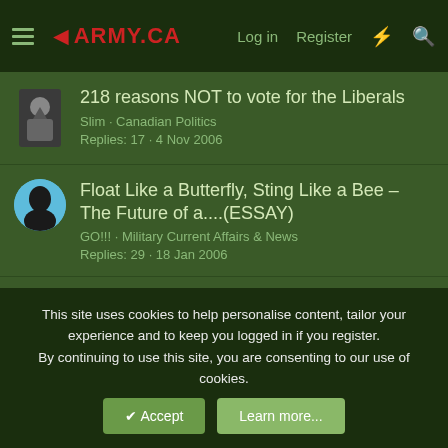◄ARMY.CA  Log in  Register
218 reasons NOT to vote for the Liberals
Slim · Canadian Politics
Replies: 17 · 4 Nov 2006
Float Like a Butterfly, Sting Like a Bee – The Future of a....(ESSAY)
GO!!! · Military Current Affairs & News
Replies: 29 · 18 Jan 2006
sorry it's so long.....
army · The Old War Diary
Replies: 0 · 2 Dec 2002
Share:
This site uses cookies to help personalise content, tailor your experience and to keep you logged in if you register.
By continuing to use this site, you are consenting to our use of cookies.